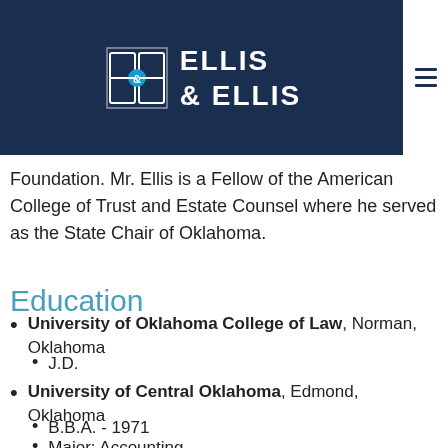Ellis & Ellis
Foundation. Mr. Ellis is a Fellow of the American College of Trust and Estate Counsel where he served as the State Chair of Oklahoma.
Education
University of Oklahoma College of Law, Norman, Oklahoma
J.D.
University of Central Oklahoma, Edmond, Oklahoma
B.B.A. - 1971
Major: Accounting